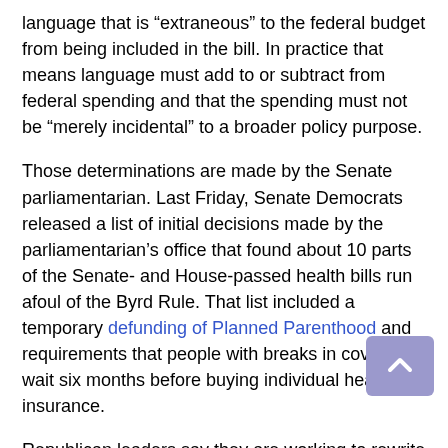language that is “extraneous” to the federal budget from being included in the bill. In practice that means language must add to or subtract from federal spending and that the spending must not be “merely incidental” to a broader policy purpose.
Those determinations are made by the Senate parliamentarian. Last Friday, Senate Democrats released a list of initial decisions made by the parliamentarian’s office that found about 10 parts of the Senate- and House-passed health bills run afoul of the Byrd Rule. That list included a temporary defunding of Planned Parenthood and requirements that people with breaks in coverage wait six months before buying individual health insurance.
Republican leaders say they are working to rewrite the problematic provisions. Whether that will pass the Byrd Rule is one of many things no one knows yet in this very tumultuous debate.
Update: This story has been updated to clarify the amount of